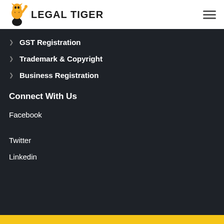[Figure (logo): Legal Tiger logo with tiger mascot illustration and bold text LEGAL TIGER]
GST Registration
Trademark & Copyright
Business Registration
Connect With Us
Facebook
Twitter
Linkedin